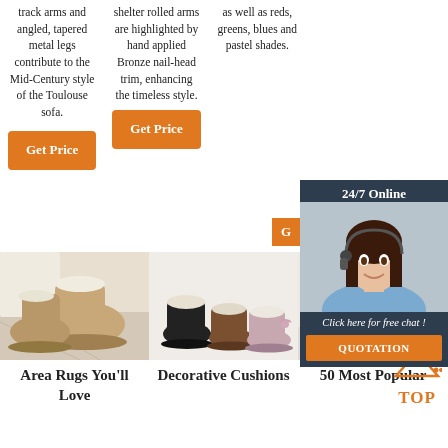track arms and angled, tapered metal legs contribute to the Mid-Century style of the Toulouse sofa.
shelter rolled arms are highlighted by hand applied Bronze nail-head trim, enhancing the timeless style.
as well as reds, greens, blues and pastel shades.
Get Price
Get Price
[Figure (photo): Customer service representative woman with headset, with 24/7 Online chat widget overlay]
24/7 Online
Click here for free chat !
QUOTATION
[Figure (photo): UGG-style short boots in tan/beige color on a wooden surface]
Area Rugs You'll Love
[Figure (photo): Mini UGG-style boots in black, brown and pink colors]
Decorative Cushions
[Figure (photo): Pink fluffy round area rug with gold chair legs visible]
50 Most Popular